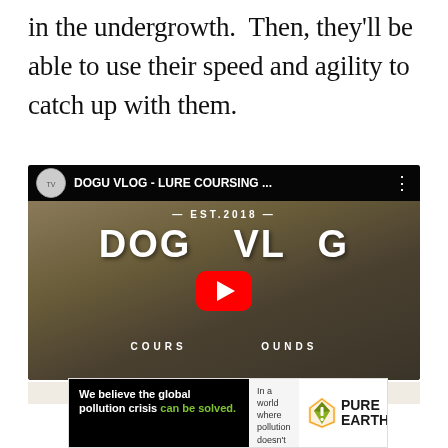in the undergrowth.  Then, they'll be able to use their speed and agility to catch up with them.
[Figure (screenshot): YouTube video embed showing 'DOGU VLOG - LURE COURSING ...' with a greyhound-type dog and a person kneeling, red play button overlay, EST.2018 and DOGU VLOG COURSING SIGHTHOUNDS watermark text]
[Figure (infographic): Pure Earth advertisement banner: 'We believe the global pollution crisis can be solved.' with small description text and JOIN US. call to action, and Pure Earth logo with diamond/mountain icon]